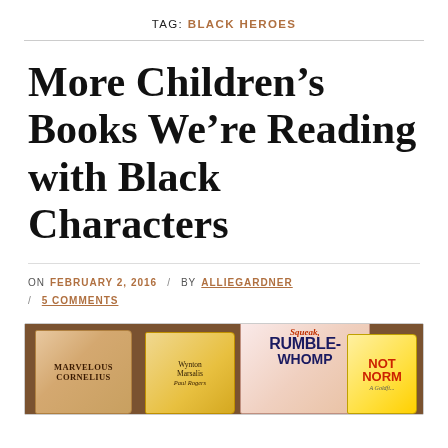TAG: BLACK HEROES
More Children’s Books We’re Reading with Black Characters
ON FEBRUARY 2, 2016 / BY ALLIEGARDNER / 5 COMMENTS
[Figure (photo): Photo of four children’s book covers laid on a wooden table: Marvelous Cornelius, Wynton Marsalis / Paul Rogers book, Squeak Rumble Whomp, and Not Norm (A Goldfish...)]